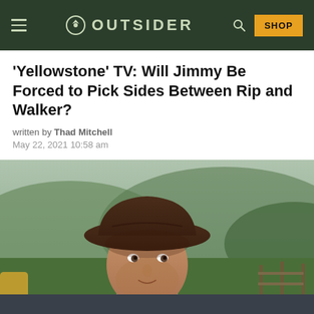OUTSIDER
'Yellowstone' TV: Will Jimmy Be Forced to Pick Sides Between Rip and Walker?
written by Thad Mitchell
May 22, 2021 10:58 am
[Figure (photo): A young man wearing a dark brown cowboy hat and denim jacket with sherpa collar, looking slightly to the side. Green hills and ranch fencing visible in the background. Scene from Yellowstone TV show.]